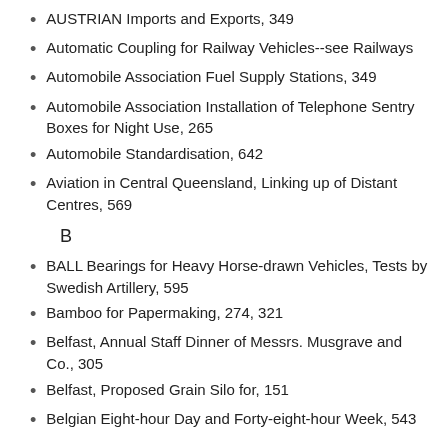AUSTRIAN Imports and Exports, 349
Automatic Coupling for Railway Vehicles--see Railways
Automobile Association Fuel Supply Stations, 349
Automobile Association Installation of Telephone Sentry Boxes for Night Use, 265
Automobile Standardisation, 642
Aviation in Central Queensland, Linking up of Distant Centres, 569
B
BALL Bearings for Heavy Horse-drawn Vehicles, Tests by Swedish Artillery, 595
Bamboo for Papermaking, 274, 321
Belfast, Annual Staff Dinner of Messrs. Musgrave and Co., 305
Belfast, Proposed Grain Silo for, 151
Belgian Eight-hour Day and Forty-eight-hour Week, 543